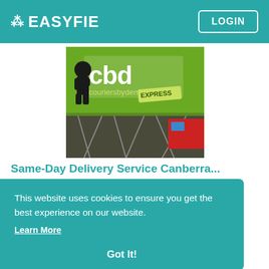EASYFIE  LOGIN
[Figure (photo): CBD Couriers by Demand Express green banner with mascot character, displayed at what appears to be an exhibition or event with scaffolding in background]
Same-Day Delivery Service Canberra...
Looking for a same-day delivery service in Canberra? Couriers by Demand offer same-day delivery...
This website uses cookies to ensure you get the best experience on our website.
Learn More
Got It!
[Figure (photo): Partial image of person at bottom of page]